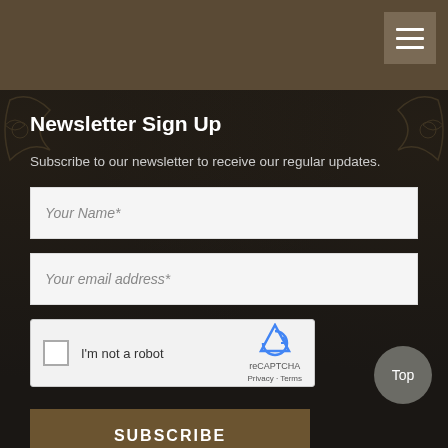[Figure (screenshot): Top navigation bar with hamburger menu icon on dark brown background]
Newsletter Sign Up
Subscribe to our newsletter to receive our regular updates.
[Figure (screenshot): Form input field with placeholder text 'Your Name*']
[Figure (screenshot): Form input field with placeholder text 'Your email address*']
[Figure (screenshot): reCAPTCHA widget with checkbox, 'I'm not a robot' text, and reCAPTCHA logo with Privacy and Terms links]
[Figure (screenshot): SUBSCRIBE button in dark brown/olive color]
Follow Us
[Figure (screenshot): Social media icons for Facebook, Twitter, Google+, YouTube]
[Figure (screenshot): Top button (back to top) circular button on the right side]